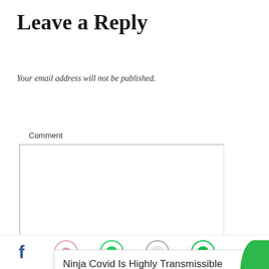Leave a Reply
Your email address will not be published.
Comment
Name *
[Figure (screenshot): Ad overlay showing 'Ninja Covid Is Highly Transmissible Than Other Strains Of Virus' from Brainberries, with PurpleAds branding and a close button]
[Figure (infographic): Social share bar at the bottom with Facebook icon, green circle icons, and a share icon]